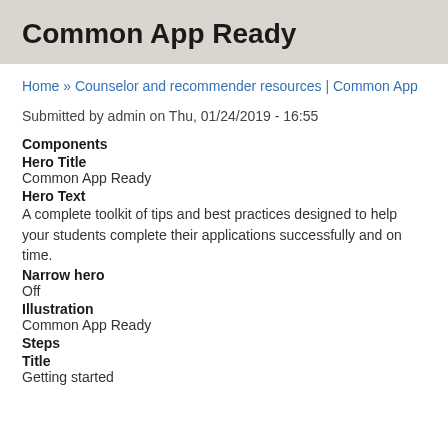Common App Ready
Home » Counselor and recommender resources | Common App
Submitted by admin on Thu, 01/24/2019 - 16:55
Components
Hero Title
Common App Ready
Hero Text
A complete toolkit of tips and best practices designed to help your students complete their applications successfully and on time.
Narrow hero
Off
Illustration
Common App Ready
Steps
Title
Getting started